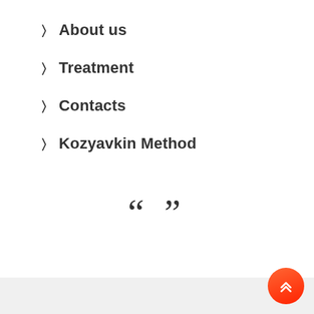About us
Treatment
Contacts
Kozyavkin Method
[Figure (illustration): Large decorative quotation marks (open and close) centered on the page]